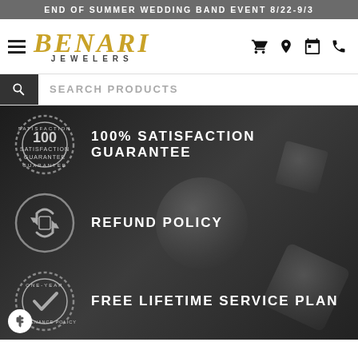END OF SUMMER WEDDING BAND EVENT 8/22-9/3
[Figure (logo): Benari Jewelers logo with hamburger menu and navigation icons (cart, location, calendar, phone)]
SEARCH PRODUCTS
[Figure (infographic): Dark promotional section with three badges: 100% Satisfaction Guarantee, Refund Policy, Free Lifetime Service Plan on dark stone/diamond background]